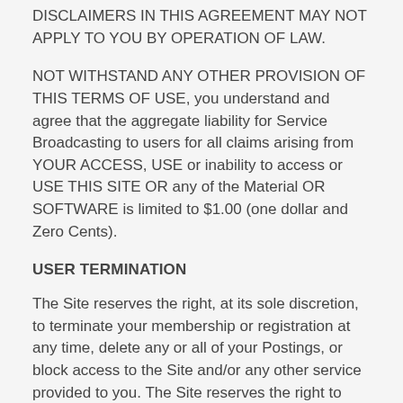DISCLAIMERS IN THIS AGREEMENT MAY NOT APPLY TO YOU BY OPERATION OF LAW.
NOT WITHSTAND ANY OTHER PROVISION OF THIS TERMS OF USE, you understand and agree that the aggregate liability for Service Broadcasting to users for all claims arising from YOUR ACCESS, USE or inability to access or USE THIS SITE OR any of the Material OR SOFTWARE is limited to $1.00 (one dollar and Zero Cents).
USER TERMINATION
The Site reserves the right, at its sole discretion, to terminate your membership or registration at any time, delete any or all of your Postings, or block access to the Site and/or any other service provided to you. The Site reserves the right to take such actions, with or without notice, for any reason or for no reason, and without any